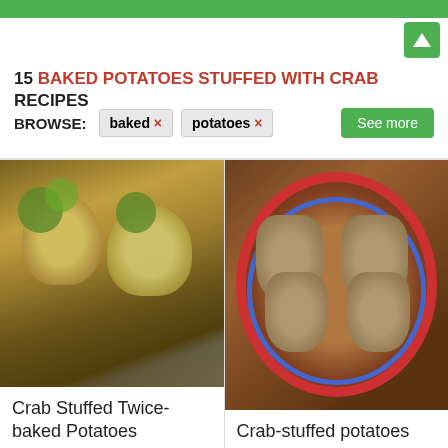15 BAKED POTATOES STUFFED WITH CRAB RECIPES
BROWSE: baked × potatoes × See more
[Figure (photo): Photo of two crab-stuffed baked potatoes topped with melted cheese and broccoli on a baking tray]
Crab Stuffed Twice-baked Potatoes
[Figure (photo): Photo of four crab-stuffed potato halves on a decorative plate with red and blue rim]
Crab-stuffed potatoes